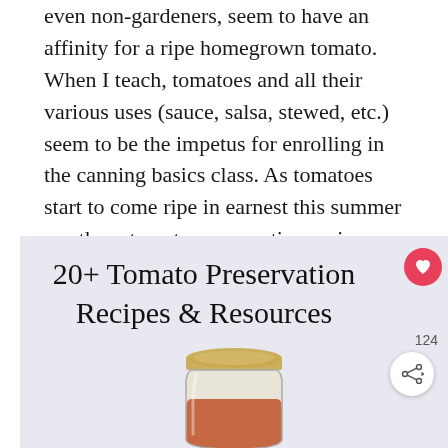even non-gardeners, seem to have an affinity for a ripe homegrown tomato. When I teach, tomatoes and all their various uses (sauce, salsa, stewed, etc.) seem to be the impetus for enrolling in the canning basics class. As tomatoes start to come ripe in earnest this summer use these tomato preservation recipes and resources to save them for the long winter ahead.
[Figure (illustration): Decorative image with text overlay reading '20+ Tomato Preservation Recipes & Resources' on a light purple/grey background, with a mason jar filled with tomato sauce at the bottom center, a share button and save button overlay on the right side, and the number '124' displayed.]